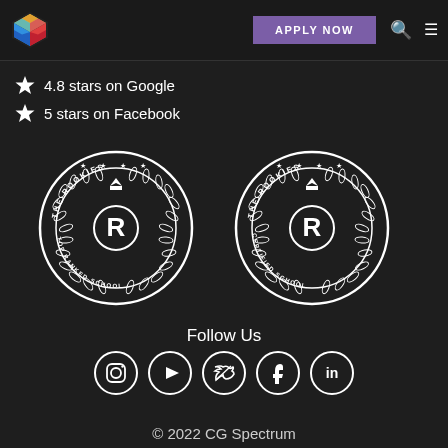[Figure (logo): CG Spectrum colorful cube logo in top left nav bar]
[Figure (screenshot): Purple APPLY NOW button in navigation bar]
4.8 stars on Google
5 stars on Facebook
[Figure (illustration): The Rookies - Top Ranked School badge with laurel wreath and R logo]
[Figure (illustration): The Rookies - Certified School badge with laurel wreath and R logo]
Follow Us
[Figure (illustration): Social media icons: Instagram, YouTube, Twitter, Facebook, LinkedIn in circular outlines]
© 2022 CG Spectrum